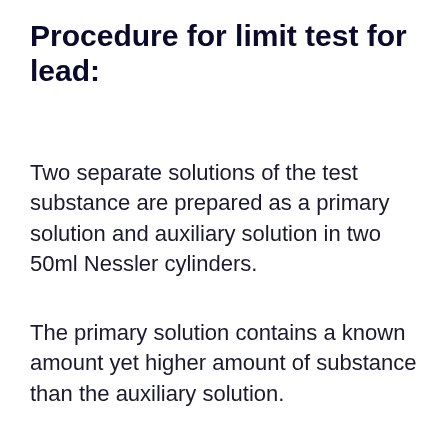Procedure for limit test for lead:
Two separate solutions of the test substance are prepared as a primary solution and auxiliary solution in two 50ml Nessler cylinders.
The primary solution contains a known amount yet higher amount of substance than the auxiliary solution.